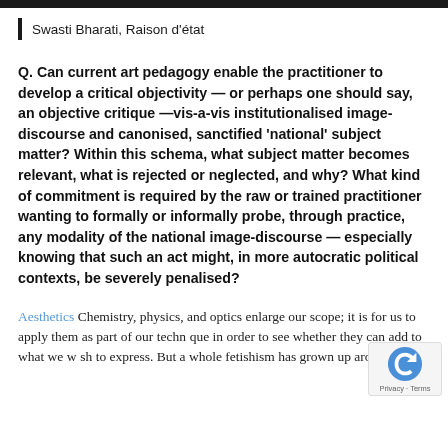Swasti Bharati, Raison d'état
Q. Can current art pedagogy enable the practitioner to develop a critical objectivity — or perhaps one should say, an objective critique —vis-a-vis institutionalised image-discourse and canonised, sanctified 'national' subject matter? Within this schema, what subject matter becomes relevant, what is rejected or neglected, and why? What kind of commitment is required by the raw or trained practitioner wanting to formally or informally probe, through practice, any modality of the national image-discourse — especially knowing that such an act might, in more autocratic political contexts, be severely penalised?
Aesthetics Chemistry, physics, and optics enlarge our scope; it is for us to apply them as part of our technique in order to see whether they can add to what we wish to express. But a whole fetishism has grown up around the